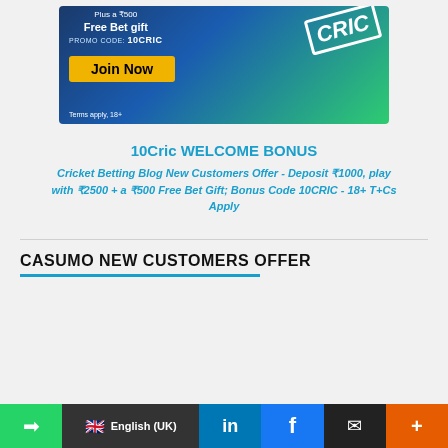[Figure (illustration): 10Cric betting advertisement banner showing a cricket player in green gloves holding a bat, with text 'Plus a ₹500 Free Bet gift', promo code '10CRIC', a yellow 'Join Now' button, and 'Terms apply, 18+' text on a blue/green gradient background.]
10Cric WELCOME BONUS
Cricket Betting Blog New Customers Offer - Deposit ₹1000, play with ₹2500 + a ₹500 Free Bet Gift; Bonus Code 10CRIC - 18+ T+Cs Apply
CASUMO NEW CUSTOMERS OFFER